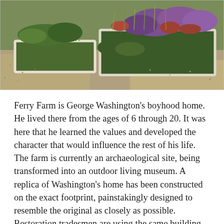[Figure (photo): Photograph of a garden at Ferry Farm showing raised planting beds with wildflowers and ornamental grasses including purple blooms, gravel pathways between white-edged rectangular beds, lush green foliage.]
Ferry Farm is George Washington's boyhood home.  He lived there from the ages of 6 through 20. It was here that he learned the values and developed the character that would influence the rest of his life.  The farm is currently an archaeological site, being transformed into an outdoor living museum.  A replica of Washington's home has been constructed on the exact footprint, painstakingly designed to resemble the original as closely as possible. Restoration tradesmen are using the same building methods as the original structure, which has long been destroyed.  Timber framing, foundation stonework, and real animal hair wall plaster are all part of the renovations. There are also stunning gardens with perennial flowers and plants that would have been grown during George Washington's time and are t... [text continues]